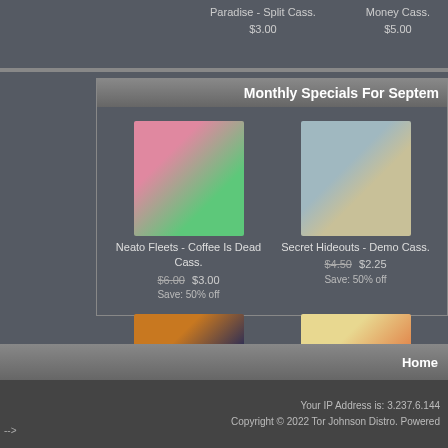Paradise - Split Cass.
$3.00
Money Cass.
$5.00
Monthly Specials For September
[Figure (photo): Album art for Neato Fleets - Coffee Is Dead Cass. Pink and green abstract image with text 'neato fleet'.]
Neato Fleets - Coffee Is Dead Cass.
$6.00  $3.00
Save: 50% off
[Figure (photo): Album art for Secret Hideouts - Demo Cass. Person holding a cassette tape cover.]
Secret Hideouts - Demo Cass.
$4.50  $2.25
Save: 50% off
[Figure (photo): Album art for Luke Holstein - Old Stuff Cass. Dark blue/orange abstract with text.]
Luke Holstein - Old Stuff Cass.
$6.00  $3.00
Save: 50% off
[Figure (photo): Album art for Todd Terry Presents - Keep On Jumpin Cass. Illustrated figures dancing.]
Todd Terry Presents - Keep On Jumpin Cass
$5.00  $2.50
Save: 50% off
Home
Your IP Address is: 3.237.6.144
Copyright © 2022 Tor Johnson Distro. Powered